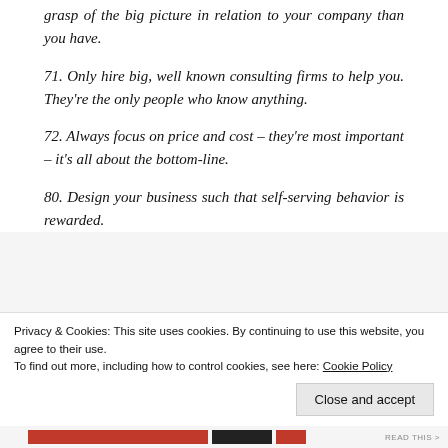grasp of the big picture in relation to your company than you have.
71. Only hire big, well known consulting firms to help you. They're the only people who know anything.
72. Always focus on price and cost – they're most important – it's all about the bottom-line.
80. Design your business such that self-serving behavior is rewarded.
Advertisements
Privacy & Cookies: This site uses cookies. By continuing to use this website, you agree to their use.
To find out more, including how to control cookies, see here: Cookie Policy
Close and accept